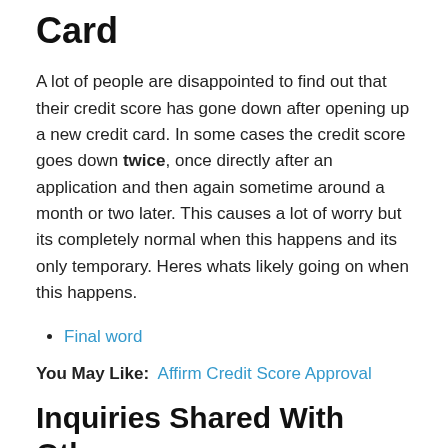Card
A lot of people are disappointed to find out that their credit score has gone down after opening up a new credit card. In some cases the credit score goes down twice, once directly after an application and then again sometime around a month or two later. This causes a lot of worry but its completely normal when this happens and its only temporary. Heres whats likely going on when this happens.
Final word
You May Like: Affirm Credit Score Approval
Inquiries Shared With Others
If its a hard inquiry other creditors will be able to see it